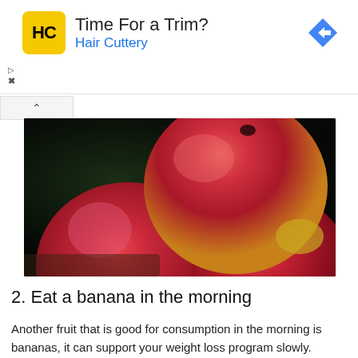[Figure (other): Hair Cuttery advertisement banner. Yellow HC logo, text 'Time For a Trim?' and 'Hair Cuttery' in blue, blue diamond navigation arrow icon on right. Play and X controls on left.]
[Figure (photo): Close-up photograph of three red apples grouped together against a dark background. The apples are shiny and red with visible stems.]
2. Eat a banana in the morning
Another fruit that is good for consumption in the morning is bananas, it can support your weight loss program slowly.